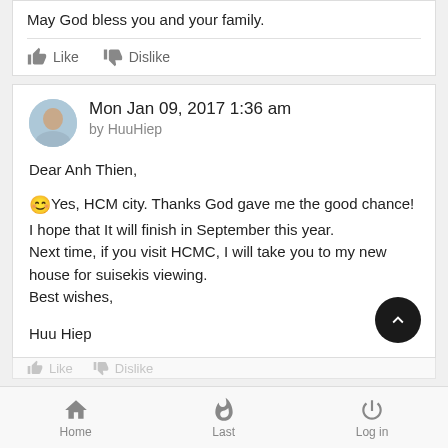May God bless you and your family.
Like  Dislike
Mon Jan 09, 2017 1:36 am
by HuuHiep
Dear Anh Thien,

😊Yes, HCM city. Thanks God gave me the good chance! I hope that It will finish in September this year.
Next time, if you visit HCMC, I will take you to my new house for suisekis viewing.
Best wishes,

Huu Hiep
Home  Last  Log in